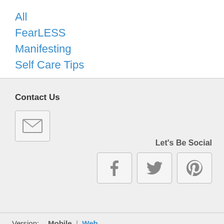All
FearLESS
Manifesting
Self Care Tips
Contact Us
[Figure (illustration): Email/envelope icon inside a bordered box]
Let's Be Social
[Figure (illustration): Social media icons: Facebook, Twitter, Pinterest]
Version:  Mobile | Web